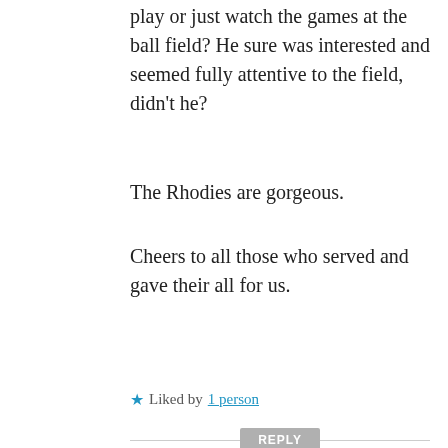I wonder if the American Robin wants to play or just watch the games at the ball field? He sure was interested and seemed fully attentive to the field, didn't he?
The Rhodies are gorgeous.
Cheers to all those who served and gave their all for us.
★ Liked by 1 person
REPLY
Dan Antion
MAY 29, 2021 AT 11:15